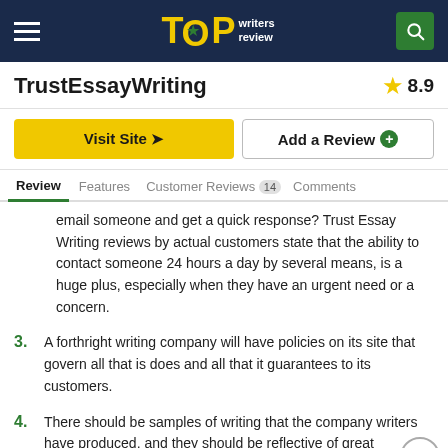TOP writers review
TrustEssayWriting
8.9
Visit Site
Add a Review
Review | Features | Customer Reviews 14 | Comments
email someone and get a quick response? Trust Essay Writing reviews by actual customers state that the ability to contact someone 24 hours a day by several means, is a huge plus, especially when they have an urgent need or a concern.
3. A forthright writing company will have policies on its site that govern all that is does and all that it guarantees to its customers.
4. There should be samples of writing that the company writers have produced, and they should be reflective of great grammar, composition, and style.